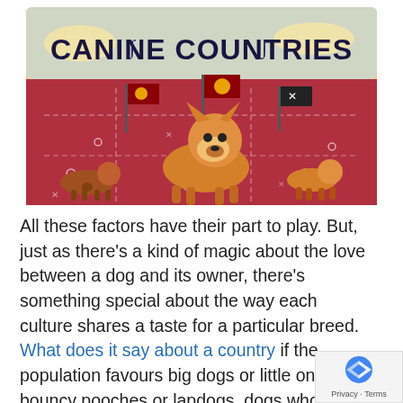[Figure (illustration): Colorful illustrated banner titled 'CANINE COUNTRIES' featuring cartoon corgis and dogs on a stylized map background with flags, in warm reds, oranges, and yellows.]
All these factors have their part to play. But, just as there’s a kind of magic about the love between a dog and its owner, there’s something special about the way each culture shares a taste for a particular breed. What does it say about a country if the population favours big dogs or little ones, bouncy pooches or lapdogs, dogs who dig cuddles or dogs